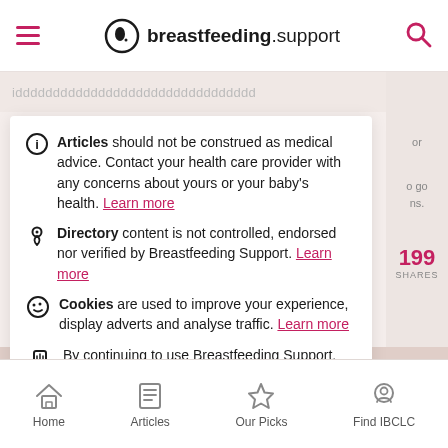breastfeeding.support
Articles should not be construed as medical advice. Contact your health care provider with any concerns about yours or your baby's health. Learn more
Directory content is not controlled, endorsed nor verified by Breastfeeding Support. Learn more
Cookies are used to improve your experience, display adverts and analyse traffic. Learn more
By continuing to use Breastfeeding Support, you agree to our terms and conditions and privacy policy.
Got it!
Home  Articles  Our Picks  Find IBCLC